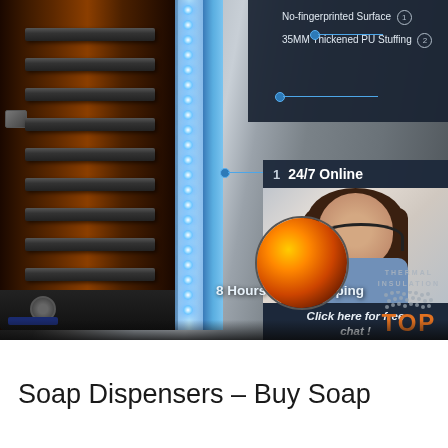[Figure (photo): Product photo of a stainless steel food warmer/hot cart with stacked racks visible on the left, blue LED insulation strip in the center, metallic brushed steel door on the right. Annotated with three callout labels: (1) No-fingerprinted Surface, (2) 35MM Thickened PU Stuffing, and a third unlabeled callout. Overlaid panels show '24/7 Online' with a customer service agent photo and 'Click here for free chat!' button with orange QUOTATION button. Bottom shows '8 Hours Warm Keeping' text and a thermal insulation TOP logo with circular detail of heating element.]
Soap Dispensers – Buy Soap